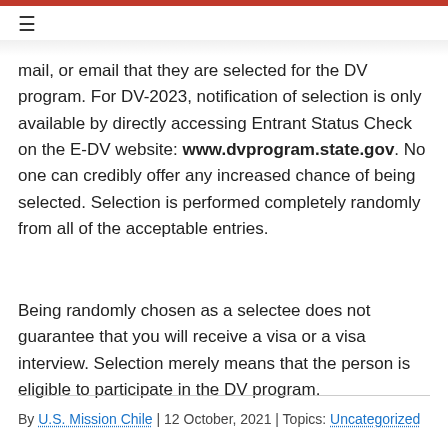mail, or email that they are selected for the DV program. For DV-2023, notification of selection is only available by directly accessing Entrant Status Check on the E-DV website: www.dvprogram.state.gov. No one can credibly offer any increased chance of being selected. Selection is performed completely randomly from all of the acceptable entries.
Being randomly chosen as a selectee does not guarantee that you will receive a visa or a visa interview. Selection merely means that the person is eligible to participate in the DV program.
By U.S. Mission Chile | 12 October, 2021 | Topics: Uncategorized